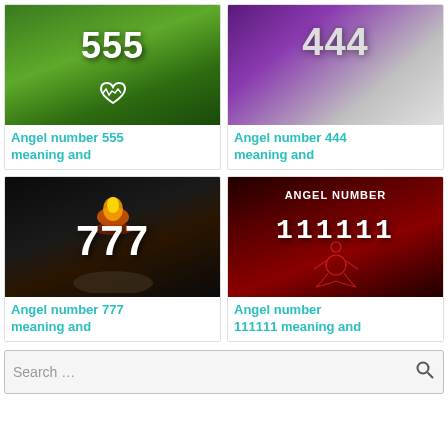[Figure (photo): Angel number 555 thumbnail - green hills background with large white '555' text and heart monitor icon]
Angel number 555 meaning and
[Figure (photo): Angel number 444 thumbnail - purple galaxy background with large white '444' text]
Angel number 444 meaning and
[Figure (photo): Angel number 777 thumbnail - dark background with fire and hands holding '777' text]
Angel number 777 meaning and
[Figure (photo): Angel number 111111 thumbnail - dark red background with meditating figure and '111111' text]
Angel number 111111 meaning and
Search ...